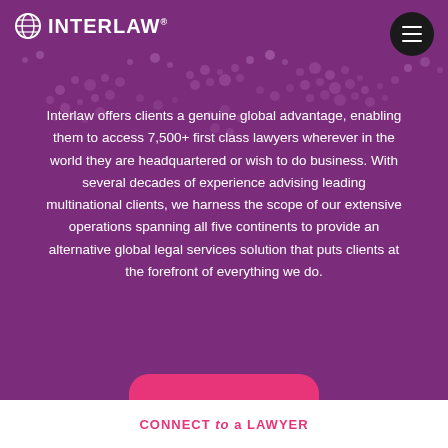INTERLAW
Interlaw offers clients a genuine global advantage, enabling them to access 7,500+ first class lawyers wherever in the world they are headquartered or wish to do business. With several decades of experience advising leading multinational clients, we harness the scope of our extensive operations spanning all five continents to provide an alternative global legal services solution that puts clients at the forefront of everything we do.
CONNECT to a LAWYER